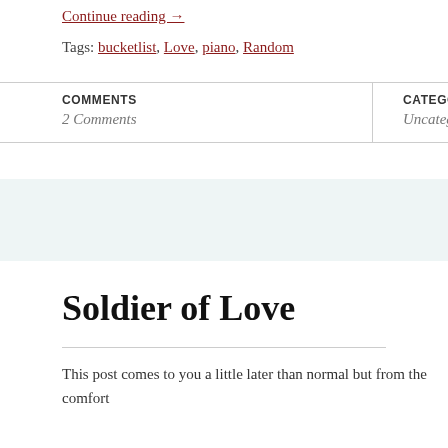Continue reading →
Tags: bucketlist, Love, piano, Random
| COMMENTS | CATEGORIES |
| --- | --- |
| 2 Comments | Uncategorized |
Soldier of Love
This post comes to you a little later than normal but from the comfort